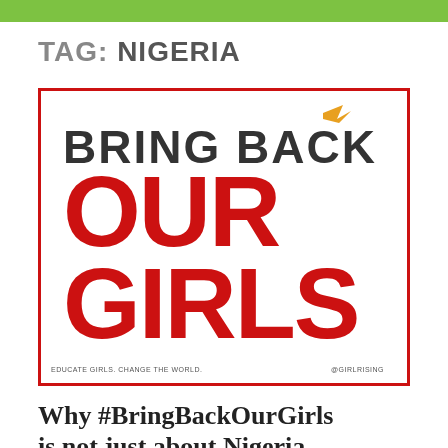TAG: NIGERIA
[Figure (illustration): Bring Back Our Girls campaign poster with red border. Large bold text reads BRING BACK OUR GIRLS with OUR GIRLS in red. A small yellow bird icon appears in the top right. Bottom reads EDUCATE GIRLS. CHANGE THE WORLD. and @GIRLRISING]
Why #BringBackOurGirls is not just about Nigeria